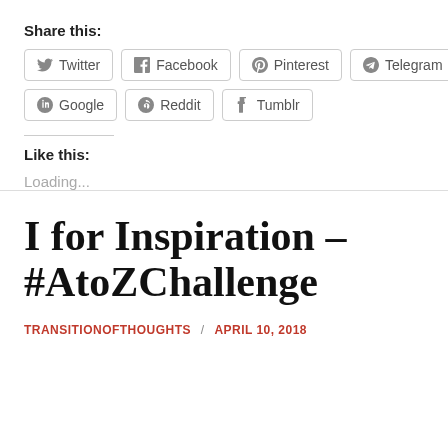Share this:
Twitter  Facebook  Pinterest  Telegram  Google  Reddit  Tumblr
Like this:
Loading...
I for Inspiration – #AtoZChallenge
TRANSITIONOFTHOUGHTS / APRIL 10, 2018